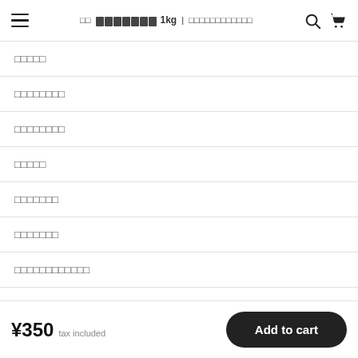≡  □□  □□□□□□□□□□ 1kg | □□□□□□□□□□□□  🔍  🛒
□□□□□
□□□□□□□□
□□□□□□□□
□□□□□
□□□□□□□
□□□□□□□
□□□□□□□□□□□□
¥350 tax included
Add to cart